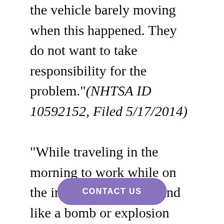the vehicle barely moving when this happened. They do not want to take responsibility for the problem."(NHTSA ID 10592152, Filed 5/17/2014)

"While traveling in the morning to work while on the interstate, a loud sound like a bomb or explosion occurred in my car, then glass from my sunroof fell down...On [CONTACT US] it was clear that the glass shattered out